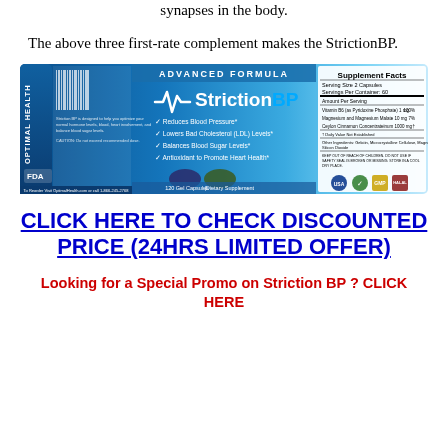synapses in the body.
The above three first-rate complement makes the StrictionBP.
[Figure (photo): StrictionBP product bottle label showing Advanced Formula with Supplement Facts, FDA logo, and claims: Reduces Blood Pressure, Lowers Bad Cholesterol (LDL) Levels, Balances Blood Sugar Levels, Antioxidant to Promote Heart Health. 120 Gel Capsules Dietary Supplement. Optimal Health branding.]
CLICK HERE TO CHECK DISCOUNTED PRICE (24HRS LIMITED OFFER)
Looking for a Special Promo on Striction BP ? CLICK HERE